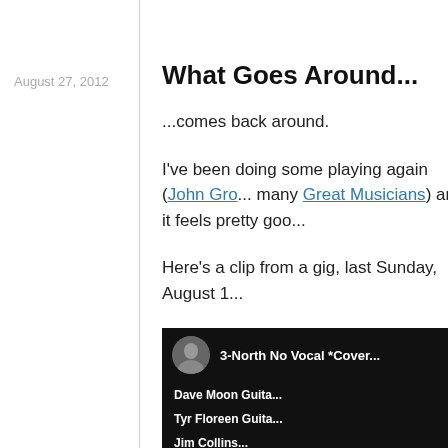August 27, 2012
What Goes Around...
...comes back around.
I've been doing some playing again (John Gro... many Great Musicians) and it feels pretty goo...
Here's a clip from a gig, last Sunday, August 1...
[Figure (screenshot): YouTube video thumbnail showing '3-North No Vocal *Cover' with credits: Dave Moon Guita..., Tyr Floreen Guita..., Jim Collins...]